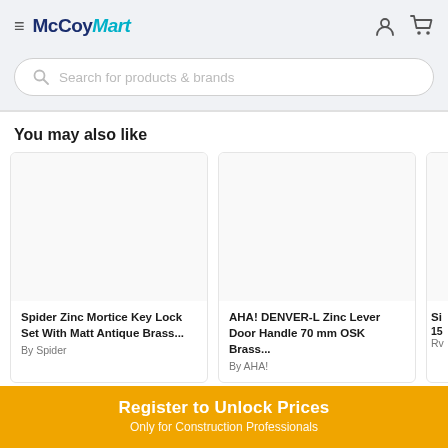McCoyMart
Search for products & brands
You may also like
[Figure (screenshot): Product card: Spider Zinc Mortice Key Lock Set With Matt Antique Brass... By Spider]
[Figure (screenshot): Product card: AHA! DENVER-L Zinc Lever Door Handle 70 mm OSK Brass... By AHA!]
[Figure (screenshot): Partially visible product card]
Register to Unlock Prices
Only for Construction Professionals